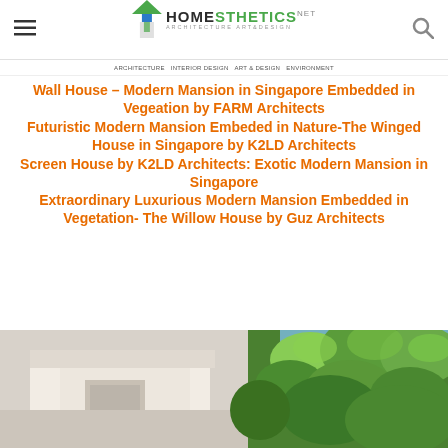Homesthetics - Architecture Art & Design
Wall House – Modern Mansion in Singapore Embedded in Vegeation by FARM Architects
Futuristic Modern Mansion Embeded in Nature-The Winged House in Singapore by K2LD Architects
Screen House by K2LD Architects: Exotic Modern Mansion in Singapore
Extraordinary Luxurious Modern Mansion Embedded in Vegetation- The Willow House by Guz Architects
[Figure (photo): Exterior view of a modern white mansion with geometric architecture surrounded by lush green tropical vegetation against a partly cloudy sky]